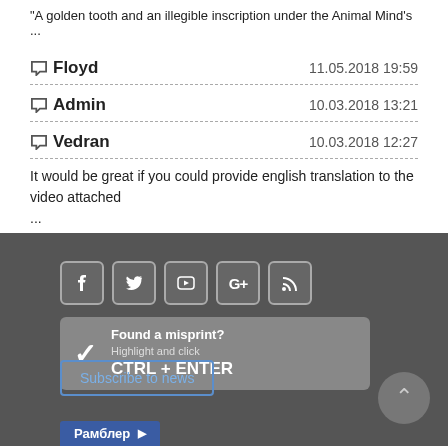“A golden tooth and an illegible inscription under the Animal Mind’s ...
Floyd   11.05.2018 19:59
Admin   10.03.2018 13:21
Vedran   10.03.2018 12:27
It would be great if you could provide english translation to the video attached ...
[Figure (screenshot): Dark footer section with social media icon buttons (Facebook, Twitter, YouTube, Google+, RSS), a misprint report button (Found a misprint? Highlight and click CTRL+ENTER), a Subscribe to news button, a back-to-top arrow button, and a Rambler button.]